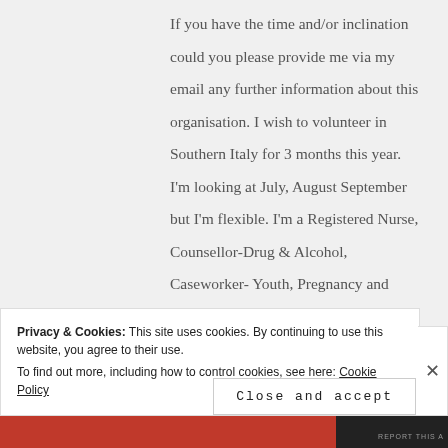If you have the time and/or inclination could you please provide me via my email any further information about this organisation. I wish to volunteer in Southern Italy for 3 months this year. I'm looking at July, August September but I'm flexible. I'm a Registered Nurse, Counsellor-Drug & Alcohol, Caseworker- Youth, Pregnancy and Aged Care Dementia Specific and a Music and Art Therapist
Privacy & Cookies: This site uses cookies. By continuing to use this website, you agree to their use. To find out more, including how to control cookies, see here: Cookie Policy
Close and accept